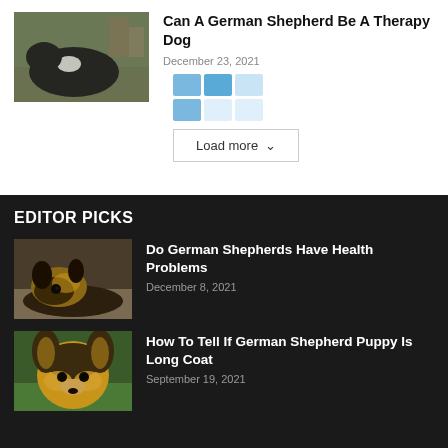[Figure (photo): German Shepherd dog wearing a vest, lying on a carpeted floor indoors]
Can A German Shepherd Be A Therapy Dog
December 23, 2021
[Figure (other): Loading placeholder grid of blue squares]
Load more
EDITOR PICKS
[Figure (photo): German Shepherd dog resting head on ground, close-up]
Do German Shepherds Have Health Problems
December 8, 2021
[Figure (photo): German Shepherd puppy face close-up, outdoors on grass]
How To Tell If German Shepherd Puppy Is Long Coat
September 19, 2021